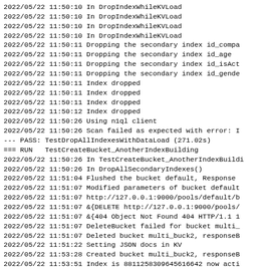2022/05/22 11:50:10 In DropIndexWhileKVLoad
2022/05/22 11:50:10 In DropIndexWhileKVLoad
2022/05/22 11:50:10 In DropIndexWhileKVLoad
2022/05/22 11:50:10 In DropIndexWhileKVLoad
2022/05/22 11:50:11 Dropping the secondary index id_compa
2022/05/22 11:50:11 Dropping the secondary index id_age
2022/05/22 11:50:11 Dropping the secondary index id_isAct
2022/05/22 11:50:11 Dropping the secondary index id_gende
2022/05/22 11:50:11 Index dropped
2022/05/22 11:50:11 Index dropped
2022/05/22 11:50:11 Index dropped
2022/05/22 11:50:12 Index dropped
2022/05/22 11:50:26 Using n1ql client
2022/05/22 11:50:26 Scan failed as expected with error: I
--- PASS: TestDropAllIndexesWithDataLoad (271.02s)
=== RUN   TestCreateBucket_AnotherIndexBuilding
2022/05/22 11:50:26 In TestCreateBucket_AnotherIndexBuildi
2022/05/22 11:50:26 In DropAllSecondaryIndexes()
2022/05/22 11:51:04 Flushed the bucket default, Response
2022/05/22 11:51:07 Modified parameters of bucket default
2022/05/22 11:51:07 http://127.0.0.1:9000/pools/default/b
2022/05/22 11:51:07 &{DELETE http://127.0.0.1:9000/pools/
2022/05/22 11:51:07 &{404 Object Not Found 404 HTTP/1.1 1
2022/05/22 11:51:07 DeleteBucket failed for bucket multi_
2022/05/22 11:51:07 Deleted bucket multi_buck2, responseB
2022/05/22 11:51:22 Setting JSON docs in KV
2022/05/22 11:53:28 Created bucket multi_buck2, responseB
2022/05/22 11:53:51 Index is 8811258309645616642 now acti
2022/05/22 11:53:51 Index is 8729018158019910234 now acti
2022/05/22 11:53:51 Using n1ql client
2022/05/22T11:53:51 0R0:05:20 [Info] GsiClient::UpdateUs